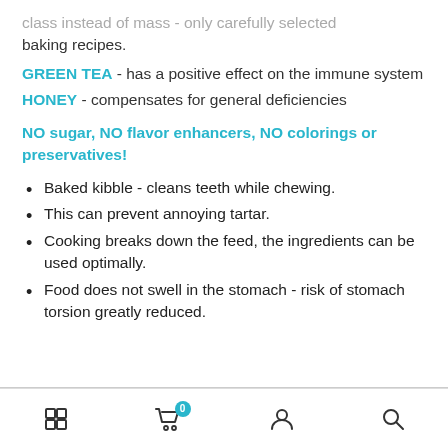class instead of mass - only carefully selected baking recipes.
GREEN TEA - has a positive effect on the immune system
HONEY - compensates for general deficiencies
NO sugar, NO flavor enhancers, NO colorings or preservatives!
Baked kibble - cleans teeth while chewing.
This can prevent annoying tartar.
Cooking breaks down the feed, the ingredients can be used optimally.
Food does not swell in the stomach - risk of stomach torsion greatly reduced.
Navigation bar with grid, cart (0), user, and search icons